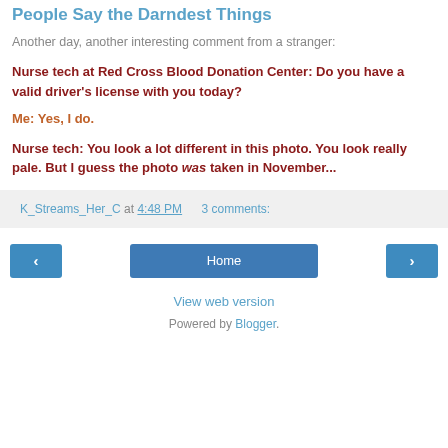People Say the Darndest Things
Another day, another interesting comment from a stranger:
Nurse tech at Red Cross Blood Donation Center: Do you have a valid driver's license with you today?
Me: Yes, I do.
Nurse tech: You look a lot different in this photo. You look really pale. But I guess the photo was taken in November...
K_Streams_Her_C at 4:48 PM    3 comments:
‹   Home   ›
View web version
Powered by Blogger.